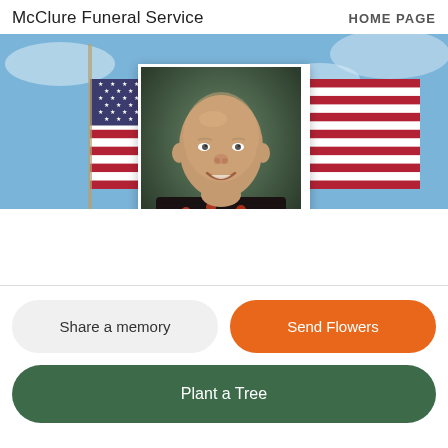McClure Funeral Service   HOME PAGE
[Figure (photo): American flag waving against a blue sky, used as a banner background]
[Figure (photo): Portrait of an older bald man smiling, wearing a dark floral patterned shirt, with a green/teal background]
Share a memory
Send Flowers
Plant a Tree